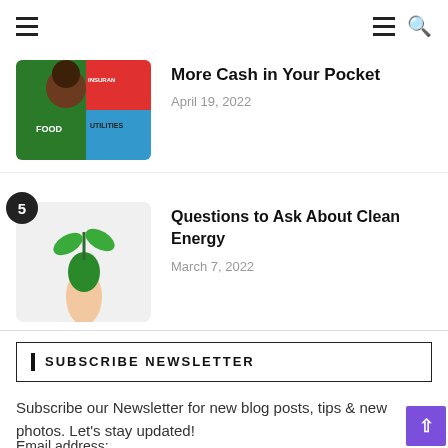Navigation bar with hamburger menu and search icon
More Cash in Your Pocket
April 19, 2022
[Figure (photo): Thumbnail image with colorful budget categories: food, utilities, insurance on colored sections]
Questions to Ask About Clean Energy
March 7, 2022
[Figure (photo): Photo of a person holding a green plant seedling, article thumbnail for clean energy article, with badge number 5]
SUBSCRIBE NEWSLETTER
Subscribe our Newsletter for new blog posts, tips & new photos. Let's stay updated!
Email address: